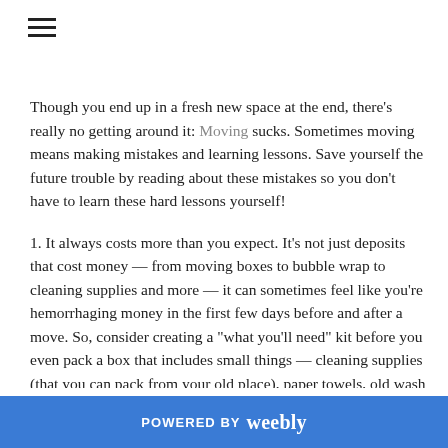[Figure (other): Hamburger menu icon (three horizontal lines)]
Though you end up in a fresh new space at the end, there's really no getting around it: Moving sucks. Sometimes moving means making mistakes and learning lessons. Save yourself the future trouble by reading about these mistakes so you don't have to learn these hard lessons yourself!
1. It always costs more than you expect. It's not just deposits that cost money — from moving boxes to bubble wrap to cleaning supplies and more — it can sometimes feel like you're hemorrhaging money in the first few days before and after a move. So, consider creating a "what you'll need" kit before you even pack a box that includes small things — cleaning supplies (that you can pack from your old place), paper towels, old wash rags, furniture sliders, and other handy things. Having this done ahead of time will save you from those last minute "just buy the first thing you find"
POWERED BY weebly